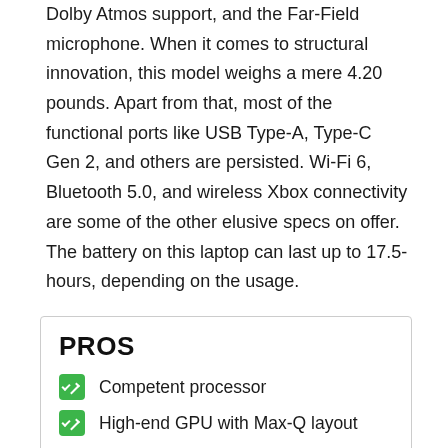Dolby Atmos support, and the Far-Field microphone. When it comes to structural innovation, this model weighs a mere 4.20 pounds. Apart from that, most of the functional ports like USB Type-A, Type-C Gen 2, and others are persisted. Wi-Fi 6, Bluetooth 5.0, and wireless Xbox connectivity are some of the other elusive specs on offer. The battery on this laptop can last up to 17.5-hours, depending on the usage.
Overall, the new Microsoft Surface Book 3 is probably the most resourceful professional laptop on our list, further bolstered by attributes related to high-end face and biometric authentication.
PROS
Competent processor
High-end GPU with Max-Q layout